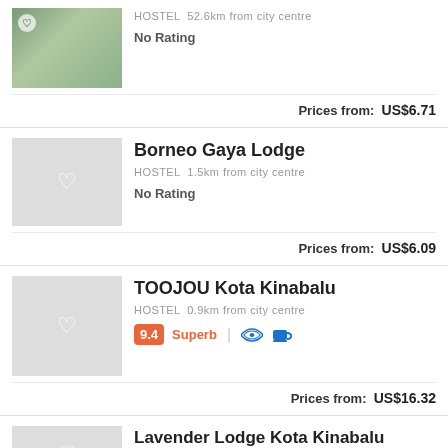[Figure (photo): Hostel thumbnail photo showing plants/greenery]
HOSTEL  52.6km from city centre
No Rating
Prices from:  US$6.71
Borneo Gaya Lodge
HOSTEL  1.5km from city centre
No Rating
Prices from:  US$6.09
TOOJOU Kota Kinabalu
HOSTEL  0.9km from city centre
9.4  Superb
Prices from:  US$16.32
Lavender Lodge Kota Kinabalu
HOSTEL